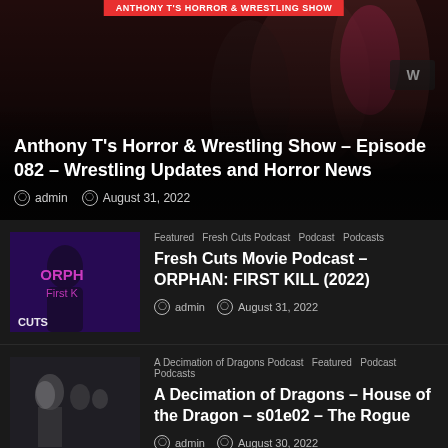ANTHONY T'S HORROR & WRESTLING SHOW
Anthony T's Horror & Wrestling Show – Episode 082 – Wrestling Updates and Horror News
admin   August 31, 2022
Featured  Fresh Cuts Podcast  Podcast  Podcasts
Fresh Cuts Movie Podcast – ORPHAN: FIRST KILL (2022)
admin   August 31, 2022
A Decimation of Dragons Podcast  Featured  Podcast  Podcasts
A Decimation of Dragons – House of the Dragon – s01e02 – The Rogue
admin   August 30, 2022